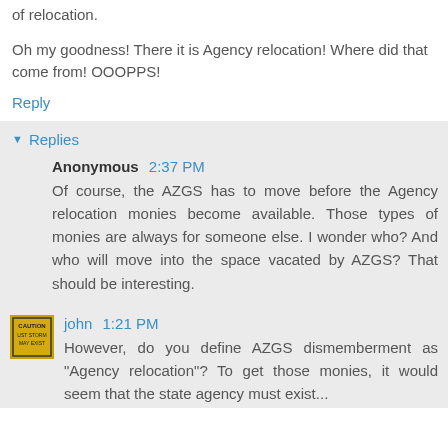of relocation.
Oh my goodness! There it is Agency relocation! Where did that come from! OOOPPS!
Reply
Replies
Anonymous 2:37 PM
Of course, the AZGS has to move before the Agency relocation monies become available. Those types of monies are always for someone else. I wonder who? And who will move into the space vacated by AZGS? That should be interesting.
john 1:21 PM
However, do you define AZGS dismemberment as "Agency relocation"? To get those monies, it would seem that the state agency must exist...